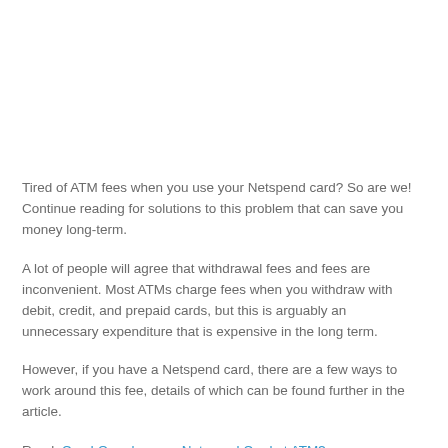Tired of ATM fees when you use your Netspend card? So are we! Continue reading for solutions to this problem that can save you money long-term.
A lot of people will agree that withdrawal fees and fees are inconvenient. Most ATMs charge fees when you withdraw with debit, credit, and prepaid cards, but this is arguably an unnecessary expenditure that is expensive in the long term.
However, if you have a Netspend card, there are a few ways to work around this fee, details of which can be found further in the article.
Read: Can I Overdraw my Netspend Card at ATM?